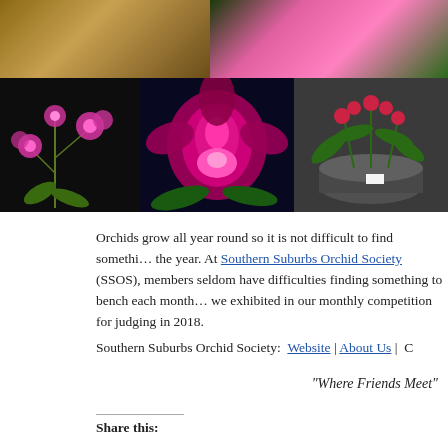[Figure (photo): Grid of orchid photographs: top row shows two photos (brown/tan orchid display, pink orchids on dark green background), bottom row shows three photos (small pink orchids on black, large magenta cattleya orchid, orchid plant in grey pot).]
Orchids grow all year round so it is not difficult to find something to exhibit throughout the year. At Southern Suburbs Orchid Society (SSOS), members seldom have difficulties finding something to bench each month. Here are some orchids we exhibited in our monthly competition for judging in 2018.
Southern Suburbs Orchid Society:  Website | About Us |  C
“Where Friends Meet”
Share this: